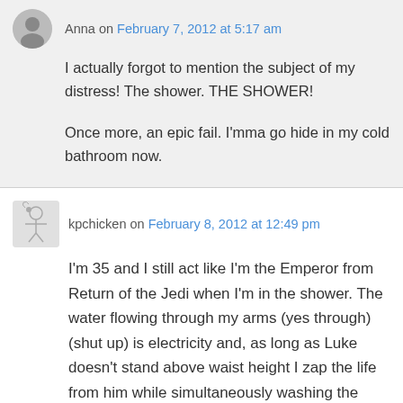Anna on February 7, 2012 at 5:17 am
I actually forgot to mention the subject of my distress! The shower. THE SHOWER!

Once more, an epic fail. I'mma go hide in my cold bathroom now.
kpchicken on February 8, 2012 at 12:49 pm
I'm 35 and I still act like I'm the Emperor from Return of the Jedi when I'm in the shower. The water flowing through my arms (yes through) (shut up) is electricity and, as long as Luke doesn't stand above waist height I zap the life from him while simultaneously washing the day's